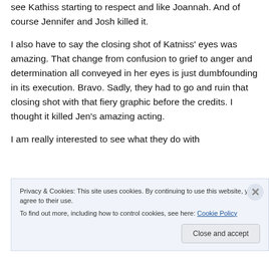see Kathiss starting to respect and like Joannah. And of course Jennifer and Josh killed it.
I also have to say the closing shot of Katniss' eyes was amazing. That change from confusion to grief to anger and determination all conveyed in her eyes is just dumbfounding in its execution. Bravo. Sadly, they had to go and ruin that closing shot with that fiery graphic before the credits. I thought it killed Jen's amazing acting.
I am really interested to see what they do with
Privacy & Cookies: This site uses cookies. By continuing to use this website, you agree to their use.
To find out more, including how to control cookies, see here: Cookie Policy